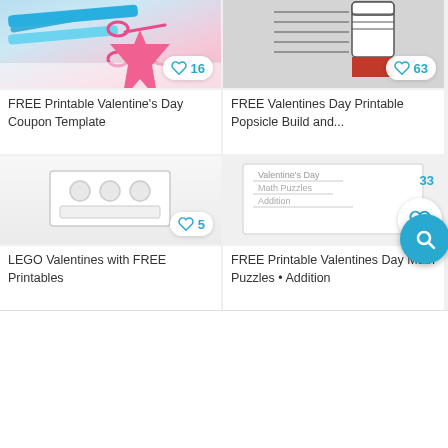[Figure (photo): Photo of scissors and craft supplies for Valentine's Day coupon template]
16
FREE Printable Valentine's Day Coupon Template
[Figure (photo): Popsicle build printable activity with line drawing and red background]
63
FREE Valentines Day Printable Popsicle Build and...
[Figure (photo): LEGO Valentines with FREE Printables - blank card image]
5
LEGO Valentines with FREE Printables
[Figure (photo): FREE Printable Valentines Day Math Puzzles Addition worksheet]
33
FREE Printable Valentines Day Math Puzzles • Addition